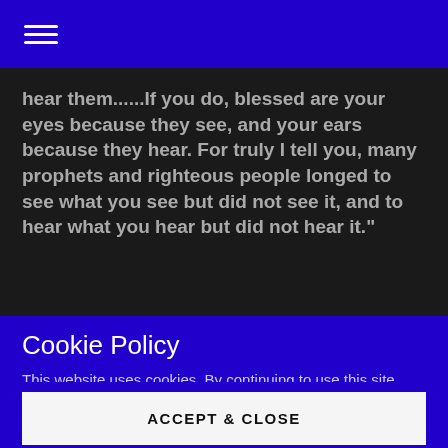☰
hear them......If you do, blessed are your eyes because they see, and your ears because they hear. For truly I tell you, many prophets and righteous people longed to see what you see but did not see it, and to hear what you hear but did not hear it."
Cookie Policy
This website uses cookies. By continuing to use this site, you accept our use of cookies.
ACCEPT & CLOSE